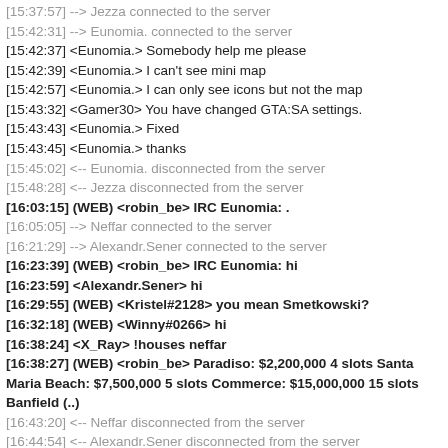[15:37:57] --> Jezza connected to the server
[15:42:31] --> Eunomia. connected to the server
[15:42:37] <Eunomia.> Somebody help me please
[15:42:39] <Eunomia.> I can't see mini map
[15:42:57] <Eunomia.> I can only see icons but not the map
[15:43:32] <Gamer30> You have changed GTA:SA settings.
[15:43:43] <Eunomia.> Fixed
[15:43:45] <Eunomia.> thanks
[15:45:02] <-- Eunomia. disconnected from the server
[15:48:28] <-- Jezza disconnected from the server
[16:03:15] (WEB) <robin_be> IRC Eunomia: .
[16:05:05] --> Neffar connected to the server
[16:21:29] --> Alexandr.Sener connected to the server
[16:23:39] (WEB) <robin_be> IRC Eunomia: hi
[16:23:59] <Alexandr.Sener> hi
[16:29:55] (WEB) <Kristel#2128> you mean Smetkowski?
[16:32:18] (WEB) <Winny#0266> hi
[16:38:24] <X_Ray> !houses neffar
[16:38:27] (WEB) <robin_be> Paradiso: $2,200,000 4 slots Santa Maria Beach: $7,500,000 5 slots Commerce: $15,000,000 15 slots Banfield (..)
[16:43:20] <-- Neffar disconnected from the server
[16:44:54] <-- Alexandr.Sener disconnected from the server
[16:45:53] (WEB) <Brooklyn#6879> That idk lol
[16:48:41] --> Neffar connected to the server
[16:51:26] --> Stan connected to the server